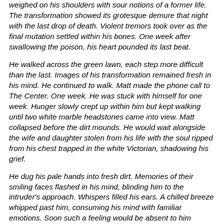weighed on his shoulders with sour notions of a former life. The transformation showed its grotesque demure that night with the last drop of death. Violent tremors took over as the final mutation settled within his bones. One week after swallowing the poison, his heart pounded its last beat.
He walked across the green lawn, each step more difficult than the last. Images of his transformation remained fresh in his mind. He continued to walk. Matt made the phone call to The Center. One week. He was stuck with himself for one week. Hunger slowly crept up within him but kept walking until two white marble headstones came into view. Matt collapsed before the dirt mounds. He would wait alongside the wife and daughter stolen from his life with the soul ripped from his chest trapped in the white Victorian, shadowing his grief.
He dug his pale hands into fresh dirt. Memories of their smiling faces flashed in his mind, blinding him to the intruder's approach. Whispers filled his ears. A chilled breeze whipped past him, consuming his mind with familiar emotions. Soon such a feeling would be absent to him completely. All thought and reason would drain from his